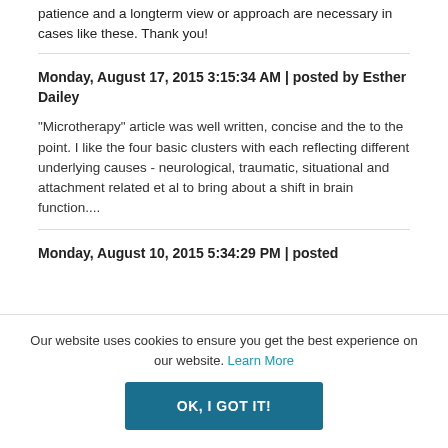patience and a longterm view or approach are necessary in cases like these. Thank you!
Monday, August 17, 2015 3:15:34 AM | posted by Esther Dailey
"Microtherapy" article was well written, concise and the to the point. I like the four basic clusters with each reflecting different underlying causes - neurological, traumatic, situational and attachment related et al to bring about a shift in brain function....
Monday, August 10, 2015 5:34:29 PM | posted
Our website uses cookies to ensure you get the best experience on our website. Learn More
OK, I GOT IT!